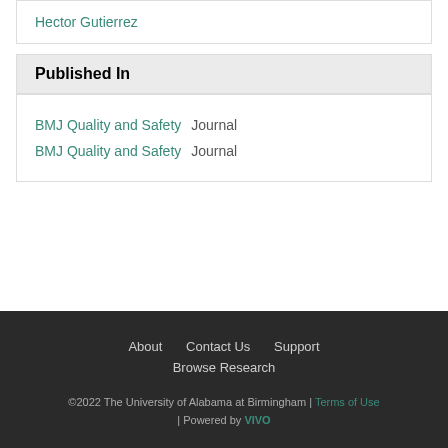Hector Gutierrez
Published In
BMJ Quality and Safety  Journal
BMJ Quality and Safety  Journal
About  Contact Us  Support  Browse Research  ©2022 The University of Alabama at Birmingham | Terms of Use | Powered by VIVO